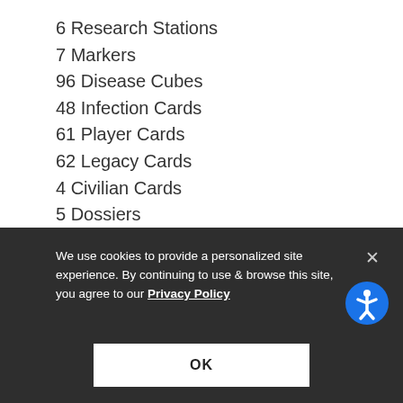6 Research Stations
7 Markers
96 Disease Cubes
48 Infection Cards
61 Player Cards
62 Legacy Cards
4 Civilian Cards
5 Dossiers
Reference Cards
Rulebook
Ages: 13+
We use cookies to provide a personalized site experience. By continuing to use & browse this site, you agree to our Privacy Policy
OK